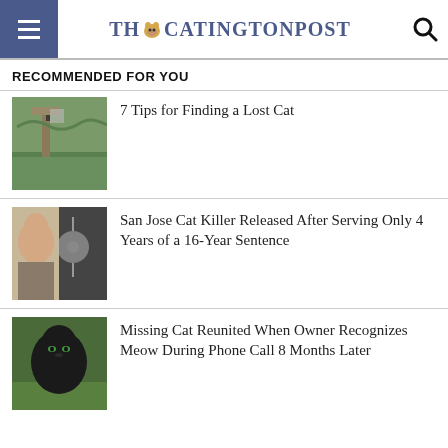THE CATINGTON POST
RECOMMENDED FOR YOU
[Figure (photo): Outdoor scene with a street sign, trees and a path]
7 Tips for Finding a Lost Cat
[Figure (photo): Mugshot of a young man next to a security camera image]
San Jose Cat Killer Released After Serving Only 4 Years of a 16-Year Sentence
[Figure (photo): Black cat sitting in grass looking at camera]
Missing Cat Reunited When Owner Recognizes Meow During Phone Call 8 Months Later